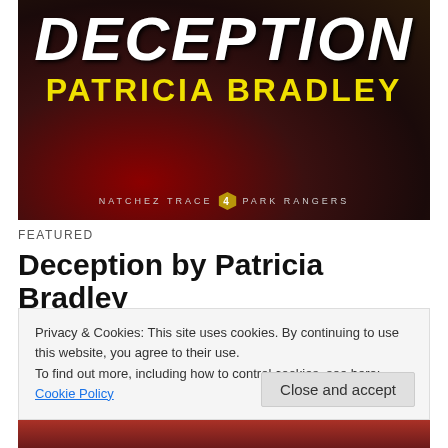[Figure (illustration): Book cover for 'Deception' by Patricia Bradley. Dark reddish-brown background with large white italic bold title text 'DECEPTION' at top, yellow bold author name 'PATRICIA BRADLEY' below, and series text 'NATCHEZ TRACE 4 PARK RANGERS' at bottom with a hexagonal badge number.]
FEATURED
Deception by Patricia Bradley
Privacy & Cookies: This site uses cookies. By continuing to use this website, you agree to their use.
To find out more, including how to control cookies, see here: Cookie Policy
Close and accept
[Figure (photo): Bottom portion of another book cover visible, reddish background.]